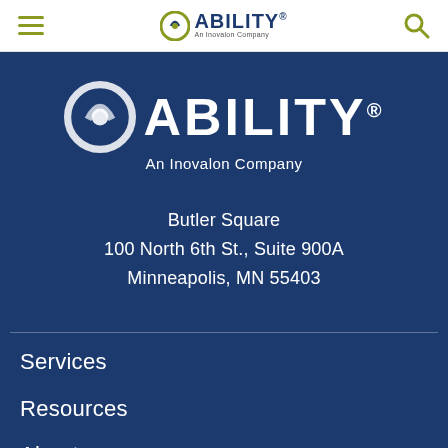ABILITY® An Inovalon Company — navigation bar with hamburger menu and search icon
[Figure (logo): ABILITY® An Inovalon Company large logo in white on dark blue background]
Butler Square
100 North 6th St., Suite 900A
Minneapolis, MN 55403
Services
Resources
About
Support